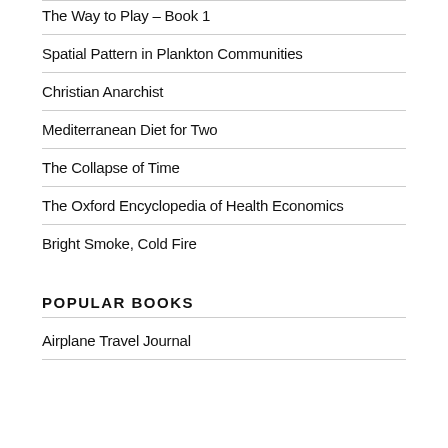The Way to Play – Book 1
Spatial Pattern in Plankton Communities
Christian Anarchist
Mediterranean Diet for Two
The Collapse of Time
The Oxford Encyclopedia of Health Economics
Bright Smoke, Cold Fire
POPULAR BOOKS
Airplane Travel Journal